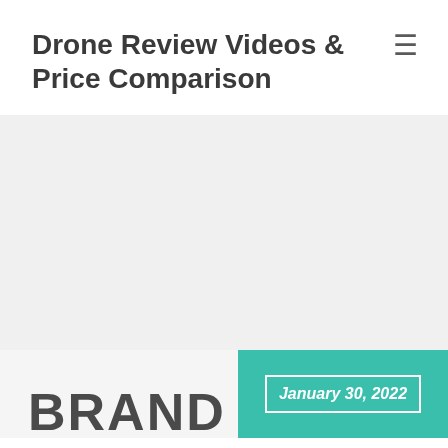Drone Review Videos & Price Comparison
[Figure (other): Gray placeholder banner area for advertisement or image]
January 30, 2022
BRAND NEW